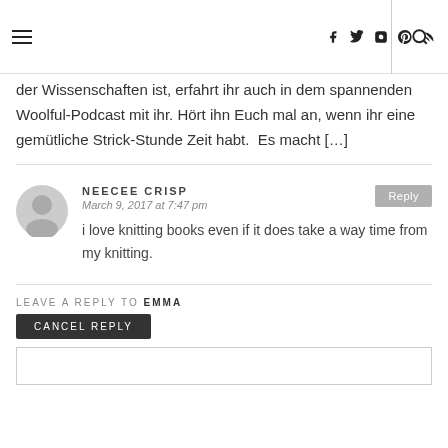Navigation header with hamburger menu, social icons (facebook, twitter, instagram, pinterest, rss), and search icon
der Wissenschaften ist, erfahrt ihr auch in dem spannenden Woolful-Podcast mit ihr. Hört ihn Euch mal an, wenn ihr eine gemütliche Strick-Stunde Zeit habt.  Es macht [...]
NEECEE CRISP
March 9, 2017 at 7:47 pm
i love knitting books even if it does take a way time from my knitting.
LEAVE A REPLY TO EMMA
CANCEL REPLY